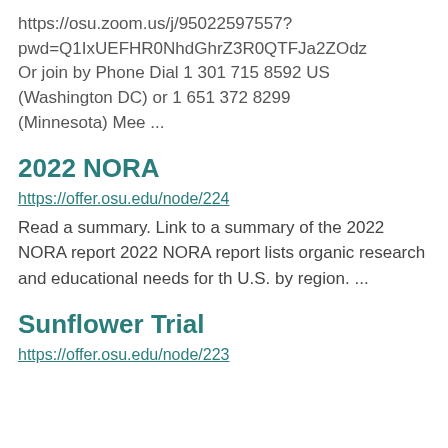https://osu.zoom.us/j/95022597557?pwd=Q1IxUEFHR0NhdGhrZ3R0QTFJa2ZOdz Or join by Phone Dial 1 301 715 8592 US (Washington DC) or 1 651 372 8299 (Minnesota) Mee ...
2022 NORA
https://offer.osu.edu/node/224
Read a summary. Link to a summary of the 2022 NORA report 2022 NORA report lists organic research and educational needs for the U.S. by region. ...
Sunflower Trial
https://offer.osu.edu/node/223